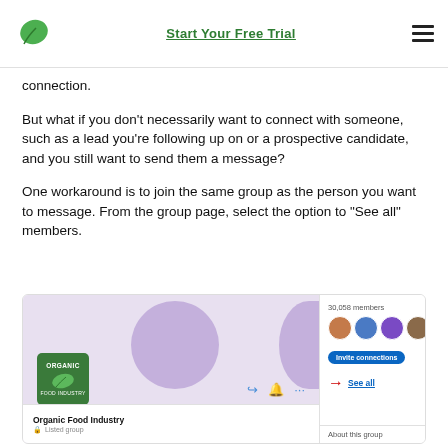Start Your Free Trial
connection.
But what if you don't necessarily want to connect with someone, such as a lead you're following up on or a prospective candidate, and you still want to send them a message?
One workaround is to join the same group as the person you want to message. From the group page, select the option to “See all” members.
[Figure (screenshot): Screenshot of a LinkedIn group page for 'Organic Food Industry'. Left side shows a purple banner with circles and the Organic Food Industry logo. Bottom shows the group name and 'Listed group'. Right panel shows 30,058 members with avatar thumbnails and '999+', an 'Invite connections' button, and a 'See all' link with a red arrow pointing to it. Bottom right shows 'About this group'.]